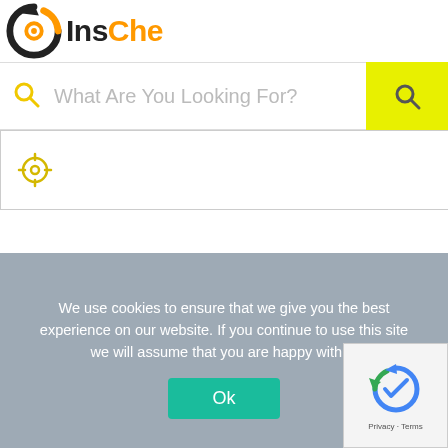InsChe
What Are You Looking For?
[Figure (screenshot): Location/GPS icon inside a search input field area]
[Figure (illustration): Android mascot robot with Google Play triangle logo on chest]
We use cookies to ensure that we give you the best experience on our website. If you continue to use this site we will assume that you are happy with it.
Ok
[Figure (logo): Google reCAPTCHA logo with Privacy and Terms text]